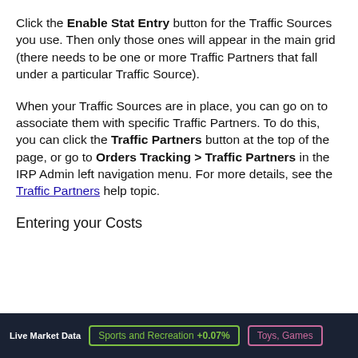Click the Enable Stat Entry button for the Traffic Sources you use. Then only those ones will appear in the main grid (there needs to be one or more Traffic Partners that fall under a particular Traffic Source).
When your Traffic Sources are in place, you can go on to associate them with specific Traffic Partners. To do this, you can click the Traffic Partners button at the top of the page, or go to Orders Tracking > Traffic Partners in the IRP Admin left navigation menu. For more details, see the Traffic Partners help topic.
Entering your Costs
Live Market Data  Sports and Recreation +0.07%  Toys, Games